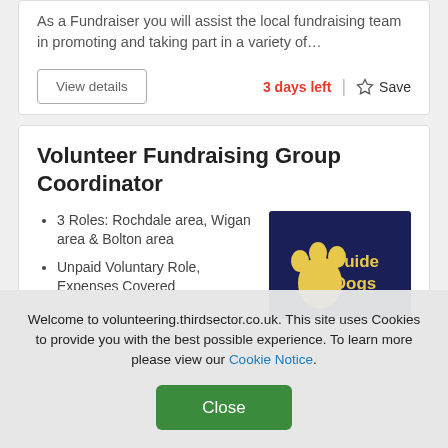As a Fundraiser you will assist the local fundraising team in promoting and taking part in a variety of…
View details
3 days left
Save
Volunteer Fundraising Group Coordinator
3 Roles: Rochdale area, Wigan area & Bolton area
Unpaid Voluntary Role, Expenses Covered
[Figure (logo): Guide Dogs logo: dark navy blue background with yellow paw print and text 'Guide Dogs']
Welcome to volunteering.thirdsector.co.uk. This site uses Cookies to provide you with the best possible experience. To learn more please view our Cookie Notice.
Close